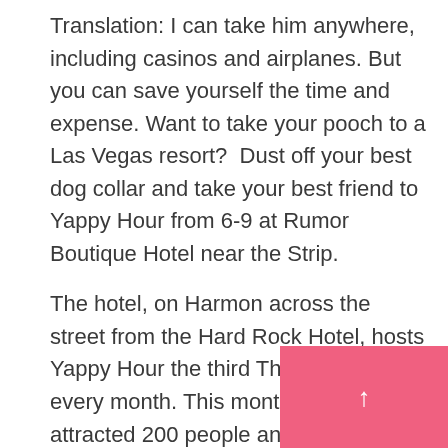Translation: I can take him anywhere, including casinos and airplanes. But you can save yourself the time and expense. Want to take your pooch to a Las Vegas resort?  Dust off your best dog collar and take your best friend to Yappy Hour from 6-9 at Rumor Boutique Hotel near the Strip.
The hotel, on Harmon across the street from the Hard Rock Hotel, hosts Yappy Hour the third Thursday of every month. This month the event attracted 200 people and 175 canines.
[Figure (photo): Broken image placeholder with caption: Bensley at Enrique's Zumba class]
Bensley at Enrique's Zumba class